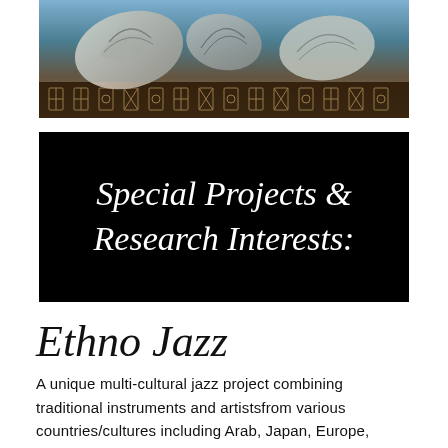[Figure (photo): Photograph of decorative seashells arranged on a wooden surface with tribal/ethnic pattern carvings, shot with blue-tinted lighting]
Special Projects & Research Interests:
Ethno Jazz
A unique multi-cultural jazz project combining traditional instruments and artistsfrom various countries/cultures including Arab, Japan, Europe, Africa, Southeast